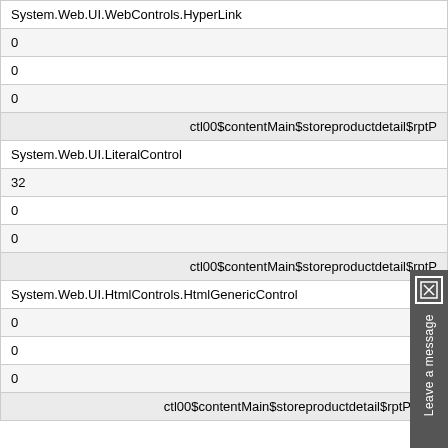| System.Web.UI.WebControls.HyperLink |
| 0 |
| 0 |
| 0 |
| ctl00$contentMain$storeproductdetail$rptP |
| System.Web.UI.LiteralControl |
| 32 |
| 0 |
| 0 |
| ctl00$contentMain$storeproductdetail$rptP |
| System.Web.UI.HtmlControls.HtmlGenericControl |
| 0 |
| 0 |
| 0 |
| ctl00$contentMain$storeproductdetail$rptProdu |